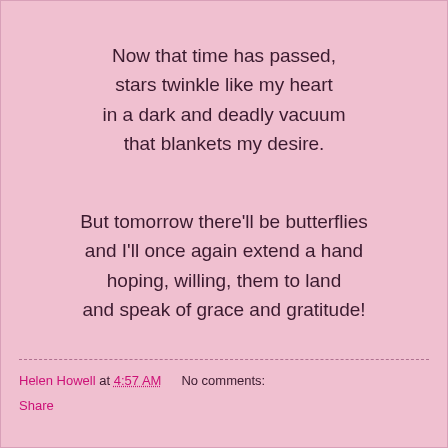Now that time has passed,
stars twinkle like my heart
in a dark and deadly vacuum
that blankets my desire.

But tomorrow there'll be butterflies
and I'll once again extend a hand
hoping, willing, them to land
and speak of grace and gratitude!
Helen Howell at 4:57 AM    No comments:
Share